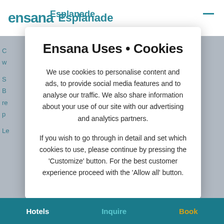Ensana | Esplanade
Ensana Uses • Cookies
We use cookies to personalise content and ads, to provide social media features and to analyse our traffic. We also share information about your use of our site with our advertising and analytics partners.
If you wish to go through in detail and set which cookies to use, please continue by pressing the 'Customize' button. For the best customer experience proceed with the 'Allow all' button.
Hotels   Inquire   Book